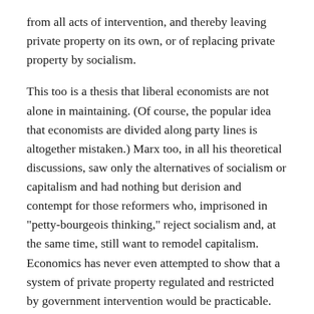from all acts of intervention, and thereby leaving private property on its own, or of replacing private property by socialism.
This too is a thesis that liberal economists are not alone in maintaining. (Of course, the popular idea that economists are divided along party lines is altogether mistaken.) Marx too, in all his theoretical discussions, saw only the alternatives of socialism or capitalism and had nothing but derision and contempt for those reformers who, imprisoned in "petty-bourgeois thinking," reject socialism and, at the same time, still want to remodel capitalism. Economics has never even attempted to show that a system of private property regulated and restricted by government intervention would be practicable. When the "socialists of the chair" wanted to prove this at any cost, they began by denying the possibility of scientific knowledge in the economic field and ultimately ended by declaring that whatever the state does must surely be rational. Since science